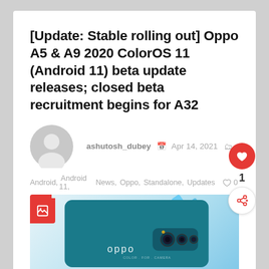[Update: Stable rolling out] Oppo A5 & A9 2020 ColorOS 11 (Android 11) beta update releases; closed beta recruitment begins for A32
ashutosh_dubey  Apr 14, 2021
Android, Android 11, News, Oppo, Standalone, Updates  ♡0
[Figure (photo): Oppo smartphone shown from the back in teal/blue color with multiple cameras and oppo logo]